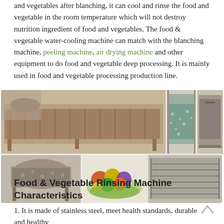and vegetables after blanching, it can cool and rinse the food and vegetable in the room temperature which will not destroy nutrition ingredient of food and vegetables. The food & vegetable water-cooling machine can match with the blanching machine, peeling machine, air drying machine and other equipment to do food and vegetable deep processing. It is mainly used in food and vegetable processing production line.
[Figure (photo): Collage of food and vegetable processing machines: a long conveyor/blanching machine, a water cooling tank with bubbling water, a rectangular wash tank, a bubble washing machine, a pile of fresh fruits and vegetables, a flat conveyor/drying rack, and a mesh conveyor belt unit.]
Food & Vegetable Rinsing Machine Characteristics
1. It is made of stainless steel, meet health standards, durable and healthy